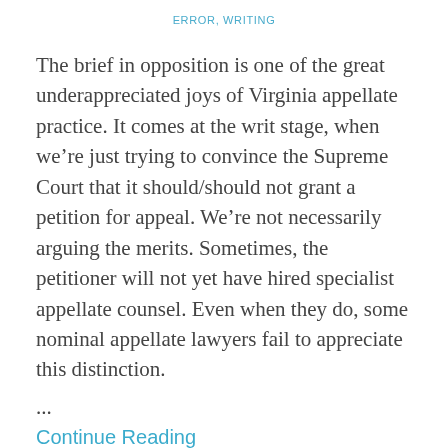ERROR, WRITING
The brief in opposition is one of the great underappreciated joys of Virginia appellate practice. It comes at the writ stage, when we’re just trying to convince the Supreme Court that it should/should not grant a petition for appeal. We’re not necessarily arguing the merits. Sometimes, the petitioner will not yet have hired specialist appellate counsel. Even when they do, some nominal appellate lawyers fail to appreciate this distinction.
...
Continue Reading